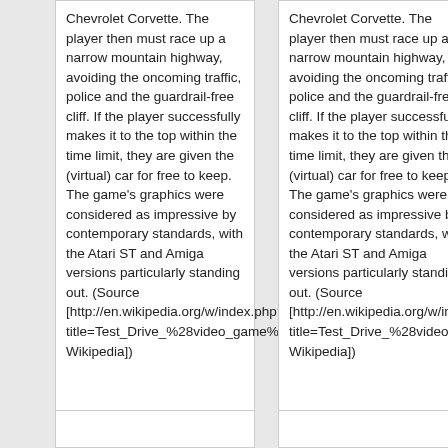Chevrolet Corvette. The player then must race up a narrow mountain highway, avoiding the oncoming traffic, police and the guardrail-free cliff. If the player successfully makes it to the top within the time limit, they are given the (virtual) car for free to keep. The game's graphics were considered as impressive by contemporary standards, with the Atari ST and Amiga versions particularly standing out. (Source [http://en.wikipedia.org/w/index.php?title=Test_Drive_%28video_game%29 Wikipedia])
Chevrolet Corvette. The player then must race up a narrow mountain highway, avoiding the oncoming traffic, police and the guardrail-free cliff. If the player successfully makes it to the top within the time limit, they are given the (virtual) car for free to keep. The game's graphics were considered as impressive by contemporary standards, with the Atari ST and Amiga versions particularly standing out. (Source [http://en.wikipedia.org/w/index.php?title=Test_Drive_%28video_game%29 Wikipedia])
== Status ==
Working.